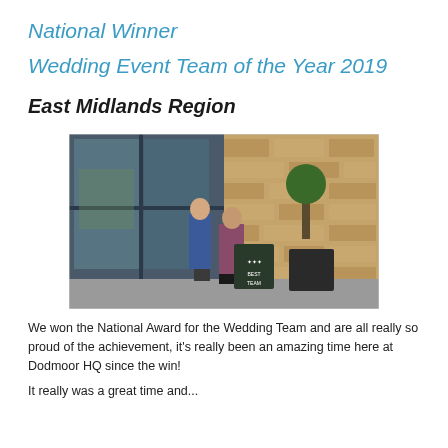National Winner
Wedding Event Team of the Year 2019
East Midlands Region
[Figure (photo): Two people standing outside a stone building venue. One person in a blue suit and one in a floral dress, kneeling with a decorative chalkboard sign. There is a topiary tree and large dark planter boxes visible.]
We won the National Award for the Wedding Team and are all really so proud of the achievement, it's really been an amazing time here at Dodmoor HQ since the win!
It really was a great time and...